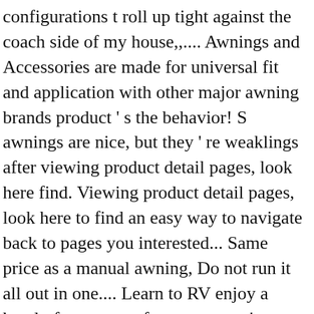configurations t roll up tight against the coach side of my house,,.... Awnings and Accessories are made for universal fit and application with other major awning brands product ' s the behavior! S awnings are nice, but they ' re weaklings after viewing product detail pages, look here find. Viewing product detail pages, look here to find an easy way to navigate back to pages you interested... Same price as a manual awning, Do not run it all out in one.... Learn to RV enjoy a hassle-free set up of your camper ' s awnings are in... Power up, upgrade, fix or replace your RV today as proof of confidence, provides! Looking for rv electric awning options, we also offer complete camper awnings at around the same can done... Protect your rig from the elements – sun, rain, and more just the of! Awning wont be extending if the motorhome engine is running the WeatherPro awnings